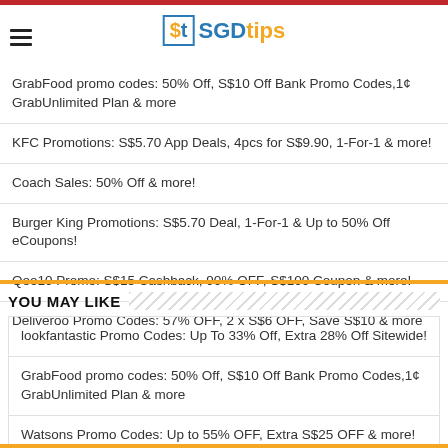SGDtips
GrabFood promo codes: 50% Off, S$10 Off Bank Promo Codes,1¢ GrabUnlimited Plan & more
KFC Promotions: S$5.70 App Deals, 4pcs for S$9.90, 1-For-1 & more!
Coach Sales: 50% Off & more!
Burger King Promotions: S$5.70 Deal, 1-For-1 & Up to 50% Off eCoupons!
Qoo10 Promo: S$15 Cashback, 90% OFF, S$100 Coupon & more!
Deliveroo Promo Codes: 57% OFF, 2 x S$6 OFF, Save S$10 & more
YOU MAY LIKE
lookfantastic Promo Codes: Up To 33% Off, Extra 28% Off Sitewide!
GrabFood promo codes: 50% Off, S$10 Off Bank Promo Codes,1¢ GrabUnlimited Plan & more
Watsons Promo Codes: Up to 55% OFF, Extra S$25 OFF & more!